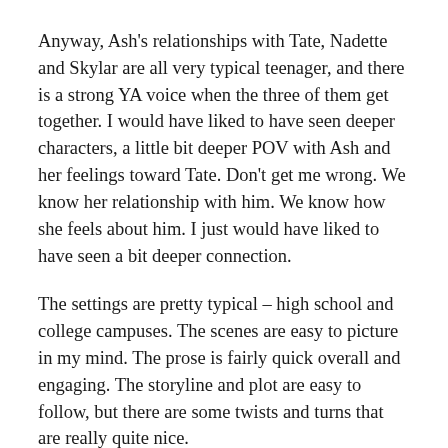Anyway, Ash's relationships with Tate, Nadette and Skylar are all very typical teenager, and there is a strong YA voice when the three of them get together. I would have liked to have seen deeper characters, a little bit deeper POV with Ash and her feelings toward Tate. Don't get me wrong. We know her relationship with him. We know how she feels about him. I just would have liked to have seen a bit deeper connection.
The settings are pretty typical – high school and college campuses. The scenes are easy to picture in my mind. The prose is fairly quick overall and engaging. The storyline and plot are easy to follow, but there are some twists and turns that are really quite nice.
There is a scene where Ash falls asleep in class that I would have liked to have seen developed a bit more. I think there would have been more reaction among the students. I